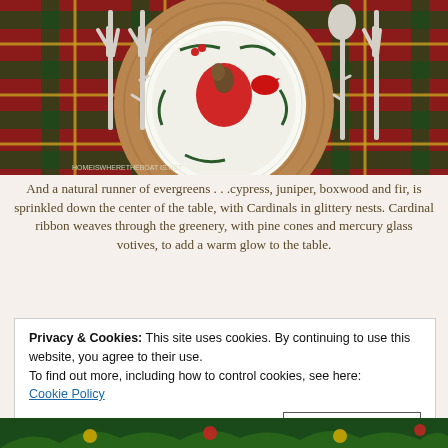[Figure (photo): Overhead view of a Christmas table setting with a cardinal-themed plate on a wood slice charger, silver twig-style flatware, a red plaid tablecloth, and a red ribbon napkin with pinecone. Watermark reads homeiswheretheBoatis.net]
And a natural runner of evergreens . . .cypress, juniper, boxwood and fir, is sprinkled down the center of the table, with Cardinals in glittery nests. Cardinal ribbon weaves through the greenery, with pine cones and mercury glass votives, to add a warm glow to the table.
Privacy & Cookies: This site uses cookies. By continuing to use this website, you agree to their use.
To find out more, including how to control cookies, see here:
Cookie Policy
[Close and accept]
[Figure (photo): Bottom strip of a Christmas greenery arrangement with ornaments, partially visible at the bottom of the page.]